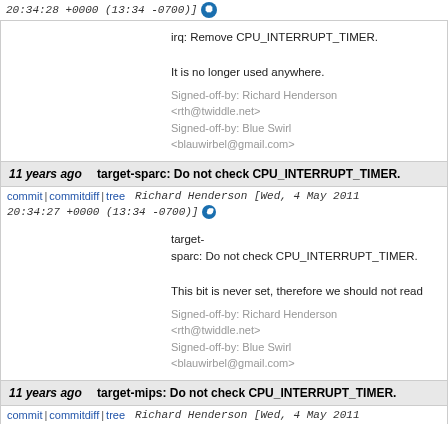20:34:28 +0000 (13:34 -0700)]
irq: Remove CPU_INTERRUPT_TIMER.

It is no longer used anywhere.

Signed-off-by: Richard Henderson <rth@twiddle.net>
Signed-off-by: Blue Swirl <blauwirbel@gmail.com>
11 years ago   target-sparc: Do not check CPU_INTERRUPT_TIMER.
commit | commitdiff | tree   Richard Henderson [Wed, 4 May 2011 20:34:27 +0000 (13:34 -0700)]
target-sparc: Do not check CPU_INTERRUPT_TIMER.

This bit is never set, therefore we should not read

Signed-off-by: Richard Henderson <rth@twiddle.net>
Signed-off-by: Blue Swirl <blauwirbel@gmail.com>
11 years ago   target-mips: Do not check CPU_INTERRUPT_TIMER.
commit | commitdiff | tree   Richard Henderson [Wed, 4 May 2011